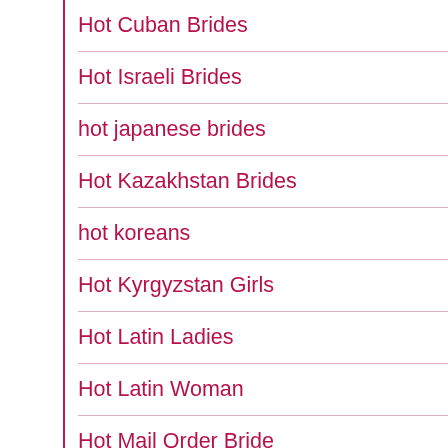Hot Cuban Brides
Hot Israeli Brides
hot japanese brides
Hot Kazakhstan Brides
hot koreans
Hot Kyrgyzstan Girls
Hot Latin Ladies
Hot Latin Woman
Hot Mail Order Bride
Hot Mail Order Brides
Hot Male Asian
Hot Milfs Dating
hot nigerian women